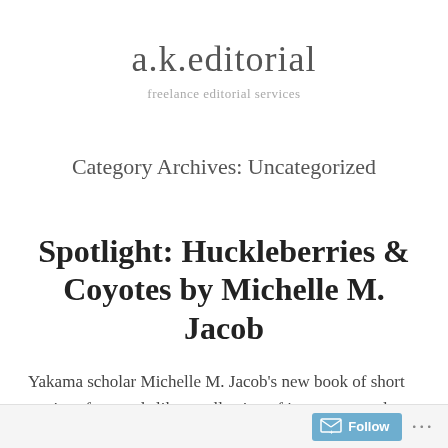a.k.editorial
freelance editorial services
Category Archives: Uncategorized
Spotlight: Huckleberries & Coyotes by Michelle M. Jacob
Yakama scholar Michelle M. Jacob's new book of short stories often reads like a collection of interconnected poems, weaving tales of